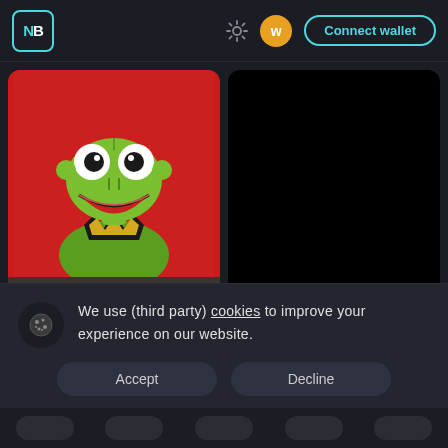NB | Connect wallet
[Figure (screenshot): NFT card showing Kermit the Frog illustration on red background]
Kermit
Starcards
[Figure (screenshot): NFT card showing Mr. Acid Trip with black/dark background]
Mr. Acid Trip
Starcards
We use (third party) cookies to improve your experience on our website.
Accept
Decline